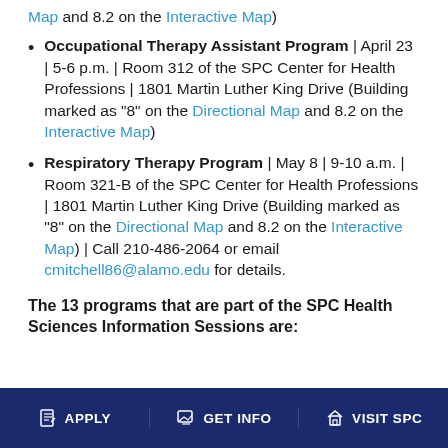Map and 8.2 on the Interactive Map)
Occupational Therapy Assistant Program | April 23 | 5-6 p.m. | Room 312 of the SPC Center for Health Professions | 1801 Martin Luther King Drive (Building marked as "8" on the Directional Map and 8.2 on the Interactive Map)
Respiratory Therapy Program | May 8 | 9-10 a.m. | Room 321-B of the SPC Center for Health Professions | 1801 Martin Luther King Drive (Building marked as "8" on the Directional Map and 8.2 on the Interactive Map) | Call 210-486-2064 or email cmitchell86@alamo.edu for details.
The 13 programs that are part of the SPC Health Sciences Information Sessions are:
APPLY   GET INFO   VISIT SPC